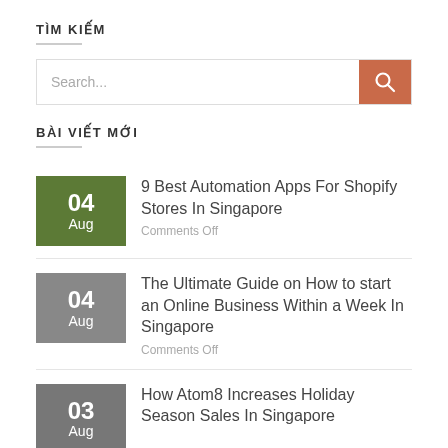TÌM KIẾM
Search...
BÀI VIẾT MỚI
9 Best Automation Apps For Shopify Stores In Singapore
Comments Off
The Ultimate Guide on How to start an Online Business Within a Week In Singapore
Comments Off
How Atom8 Increases Holiday Season Sales In Singapore